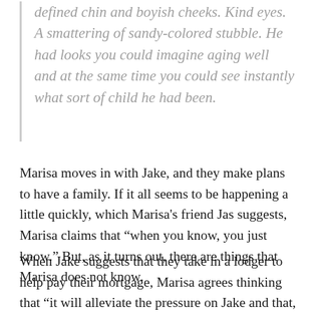defined chin and boyish cheeks. Kind eyes. A smattering of sandy-colored stubble. He had looks you could imagine aging well and at the same time you could see instantly what sort of child he had been.
Marisa moves in with Jake, and they make plans to have a family. If it all seems to be happening a little quickly, which Marisa's friend Jas suggests, Marisa claims that “when you know, you just know.” But, as it turns out, there are things that Marisa does not know.
When Jake suggests that they take in a lodger to help pay their mortgage, Marisa agrees thinking that “it will alleviate the pressure on Jake and that, as a result, he will be more present with her. Enter Kate.